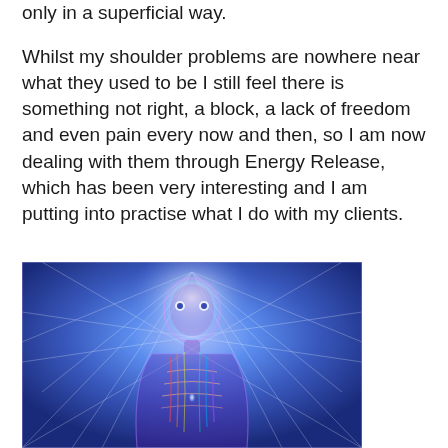only in a superficial way.
Whilst my shoulder problems are nowhere near what they used to be I still feel there is something not right, a block, a lack of freedom and even pain every now and then, so I am now dealing with them through Energy Release, which has been very interesting and I am putting into practise what I do with my clients.
[Figure (illustration): Colorful digital illustration of a human figure with visible internal anatomy and energy/light radiating from the body, shown against a blue energy field background with white lightning-like lines]